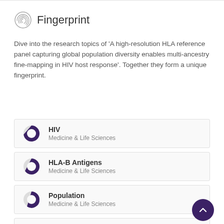Fingerprint
Dive into the research topics of 'A high-resolution HLA reference panel capturing global population diversity enables multi-ancestry fine-mapping in HIV host response'. Together they form a unique fingerprint.
HIV — Medicine & Life Sciences
HLA-B Antigens — Medicine & Life Sciences
Population — Medicine & Life Sciences
Hispanic Americans